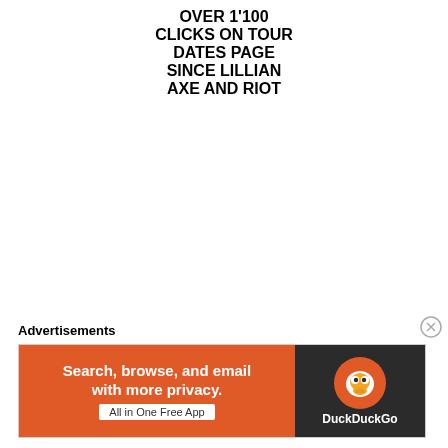OVER 1'100 CLICKS ON TOUR DATES PAGE SINCE LILLIAN AXE AND RIOT
Advertisements
[Figure (illustration): DuckDuckGo advertisement banner with orange background. Text reads: Search, browse, and email with more privacy. All in One Free App. DuckDuckGo logo on dark background on the right.]